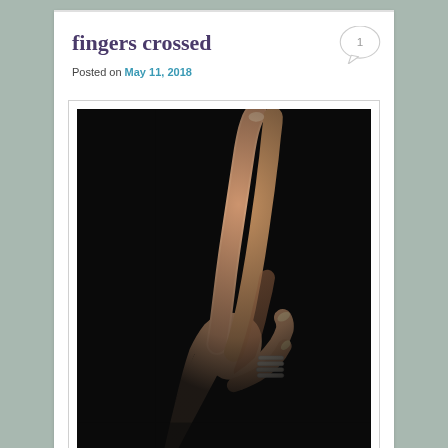fingers crossed
Posted on May 11, 2018
[Figure (photo): A hand with fingers crossed, photographed dramatically against a black background. The hand has painted nails and wears multiple stacked rings on one finger. Watermark reads 'Pamela Michaelis' at bottom left.]